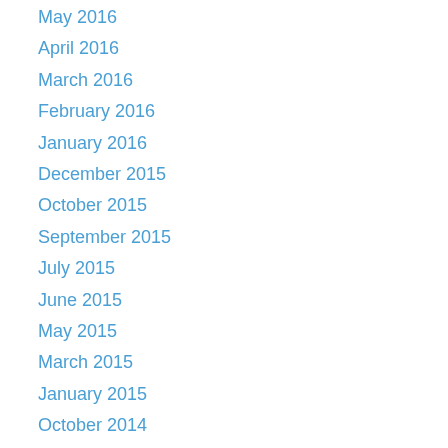May 2016
April 2016
March 2016
February 2016
January 2016
December 2015
October 2015
September 2015
July 2015
June 2015
May 2015
March 2015
January 2015
October 2014
September 2014
June 2014
May 2014
April 2014
March 2014
January 2014